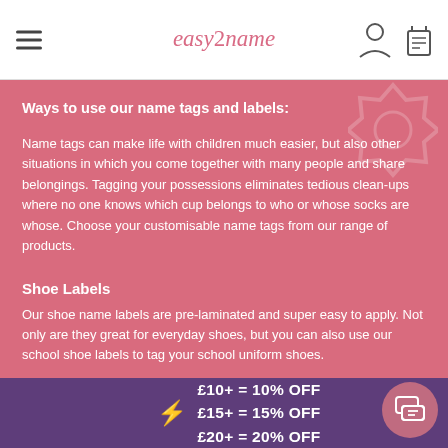easy2name
Ways to use our name tags and labels:
Name tags can make life with children much easier, but also other situations in which you come together with many people and share belongings. Tagging your possessions eliminates tedious clean-ups where no one knows which cup belongs to who or whose socks are whose. Choose your customisable name tags from our range of products.
Shoe Labels
Our shoe name labels are pre-laminated and super easy to apply. Not only are they great for everyday shoes, but you can also use our school shoe labels to tag your school uniform shoes.
Stick-on Transparent Shoe Label Covers
Bright & Brilliant Shoe Labels
£10+ = 10% OFF
£15+ = 15% OFF
£20+ = 20% OFF